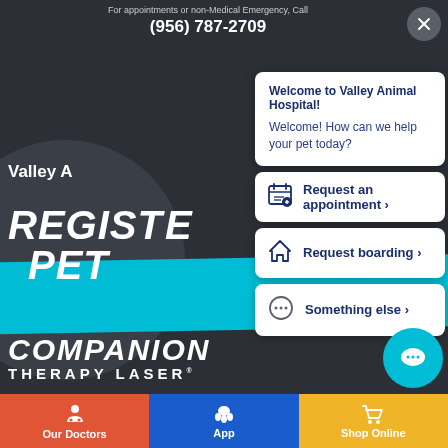For appointments or non-Medical Emergency, Call (956) 787-2709
Valley A...
[Figure (screenshot): Chat widget popup with welcome message and action buttons overlay on Valley Animal Hospital website. Shows 'Welcome to Valley Animal Hospital! Welcome! How can we help your pet today?' and buttons: 'Request an appointment', 'Request boarding', 'Something else']
REGISTER PET
COMPANION THERAPY LASER
Our Doctors
App
Shop Online